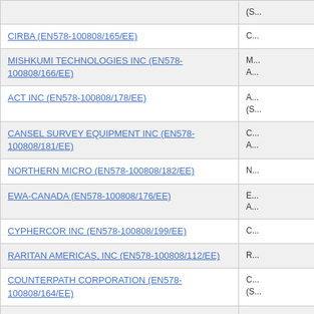| Supplier | Description |
| --- | --- |
|  | (S... |
| CIRBA (EN578-100808/165/EE) | C... |
| MISHKUMI TECHNOLOGIES INC (EN578-100808/166/EE) | M... A... |
| ACT INC (EN578-100808/178/EE) | A... (S... |
| CANSEL SURVEY EQUIPMENT INC (EN578-100808/181/EE) | C... A... |
| NORTHERN MICRO (EN578-100808/182/EE) | N... |
| EWA-CANADA (EN578-100808/176/EE) | E... A... |
| CYPHERCOR INC (EN578-100808/199/EE) | C... |
| RARITAN AMERICAS, INC (EN578-100808/112/EE) | R... |
| COUNTERPATH CORPORATION (EN578-100808/164/EE) | C... (S... |
| ORANGUTECH INC (EN578-100808/196/EE) | O... (S... |